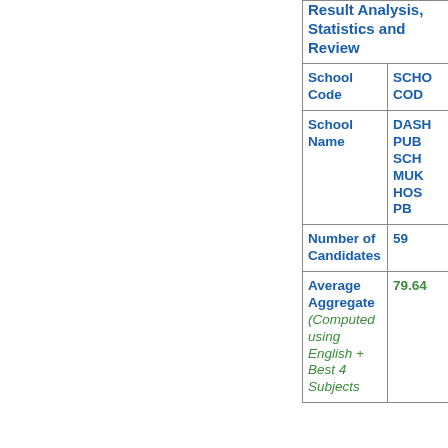| Field | Value |
| --- | --- |
| Result Analysis, Statistics and Review |  |
| School Code | SCHOOL CODE |
| School Name | DASHBOARD PUBLIC SCHOOL MUKTSAR HOSPITAL PB |
| Number of Candidates | 59 |
| Average Aggregate (Computed using English + Best 4 Subjects | 79.64 |